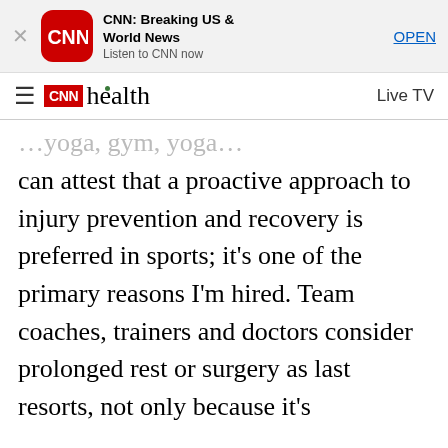[Figure (screenshot): CNN app banner advertisement with CNN logo icon, text 'CNN: Breaking US & World News', 'Listen to CNN now', and an OPEN button]
CNN Health — Live TV
...yoga, gym, yoga... (faded top line) can attest that a proactive approach to injury prevention and recovery is preferred in sports; it's one of the primary reasons I'm hired. Team coaches, trainers and doctors consider prolonged rest or surgery as last resorts, not only because it's impractical and costly to bench in-season athletes, but because they recognize active recovery as an effective means of overcoming pain for the quickest return to play. They also know that adding back-care exercises to an athlete's overall strength and conditioning program is key to reducing the risk of